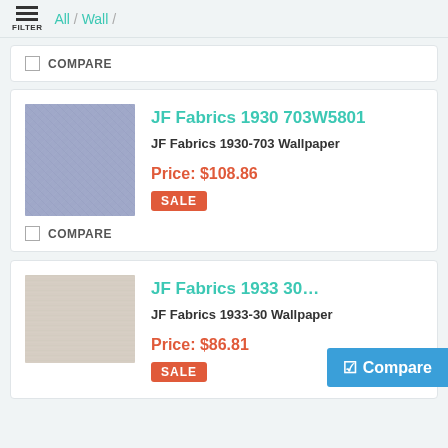FILTER  All / Wall /
COMPARE
JF Fabrics 1930 703W5801
JF Fabrics 1930-703 Wallpaper
Price: $108.86
SALE
COMPARE
JF Fabrics 1933 30W58...
JF Fabrics 1933-30 Wallpaper
Price: $86.81
SALE
Compare